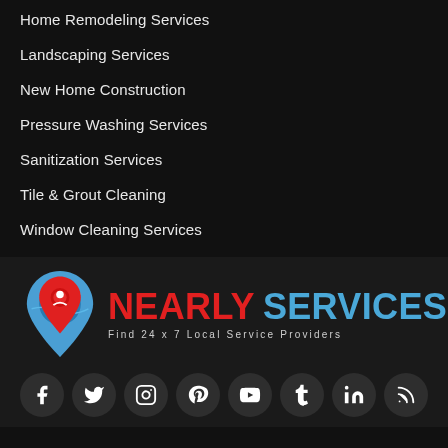Home Remodeling Services
Landscaping Services
New Home Construction
Pressure Washing Services
Sanitization Services
Tile & Grout Cleaning
Window Cleaning Services
[Figure (logo): Nearly Services logo with location pin icon, red 'NEARLY' and blue 'SERVICES' text, tagline 'Find 24 x 7 Local Service Providers']
[Figure (infographic): Social media icons row: Facebook, Twitter, Instagram, Pinterest, YouTube, Tumblr, LinkedIn, RSS]